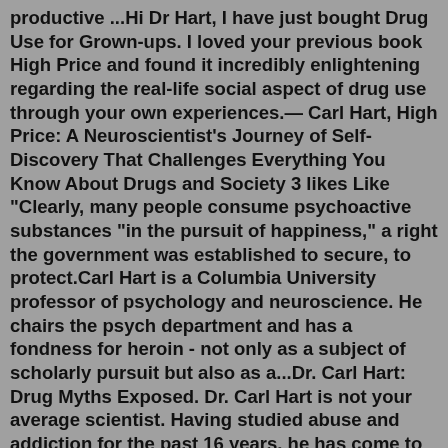productive ...Hi Dr Hart, I have just bought Drug Use for Grown-ups. I loved your previous book High Price and found it incredibly enlightening regarding the real-life social aspect of drug use through your own experiences.— Carl Hart, High Price: A Neuroscientist's Journey of Self-Discovery That Challenges Everything You Know About Drugs and Society 3 likes Like "Clearly, many people consume psychoactive substances "in the pursuit of happiness," a right the government was established to secure, to protect.Carl Hart is a Columbia University professor of psychology and neuroscience. He chairs the psych department and has a fondness for heroin - not only as a subject of scholarly pursuit but also as a...Dr. Carl Hart: Drug Myths Exposed. Dr. Carl Hart is not your average scientist. Having studied abuse and addiction for the past 16 years, he has come to the conclusion that most of what is ...Dr. Carl Hart, neuroscientist and professor at Columbia University, was invited to São Paulo by the Brazilian Institute for Criminal Sciences, and to interact the...